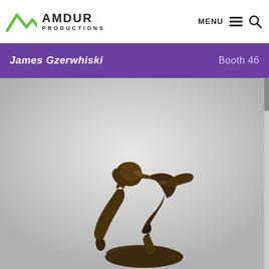Amdur Productions — MENU 🔍
James Gzerwhiski
Booth 46
[Figure (photo): Bronze sculpture of a human figure bent forward in a dramatic pose, balancing on one leg on a rocky base, with arms and free leg extended, against a light gray background.]